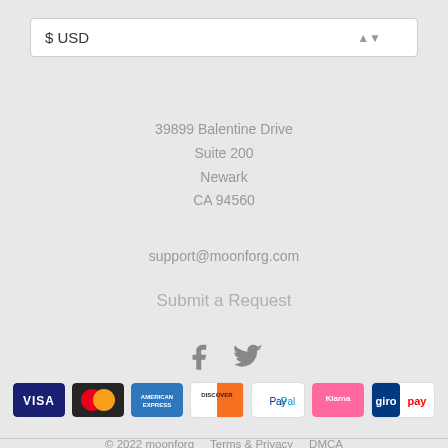$ USD
39899 Balentine Drive
Suite 200
Newark
CA 94560
support@moonforg.com
Submit a Request
[Figure (illustration): Facebook and Twitter social media icons]
[Figure (illustration): Payment method logos: Visa, Mastercard, American Express, Discover, PayPal, Klarna, Giropay]
© 2022 moonforg   Terms & Privacy   DMCA